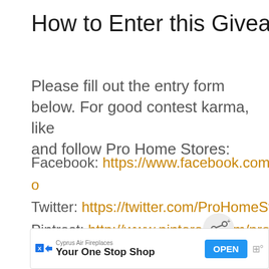How to Enter this Giveaway
Please fill out the entry form below. For good contest karma, like and follow Pro Home Stores:
Facebook: https://www.facebook.com/ProHo
Twitter: https://twitter.com/ProHomeStores
Pintrest: http://www.pinterest.com/prohomes
[Figure (screenshot): Share button icon (circular button with share/connect icon)]
[Figure (screenshot): What's Next panel with thumbnail and text: Dell Latitude 14 Inch...]
[Figure (screenshot): Advertisement banner: Cyprus Air Fireplaces - Your One Stop Shop - OPEN button]